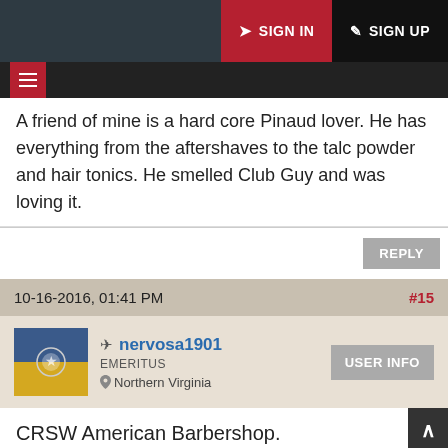SIGN IN  SIGN UP
A friend of mine is a hard core Pinaud lover. He has everything from the aftershaves to the talc powder and hair tonics. He smelled Club Guy and was loving it.
10-16-2016, 01:41 PM  #15
nervosa1901
EMERITUS
Northern Virginia
CRSW American Barbershop.